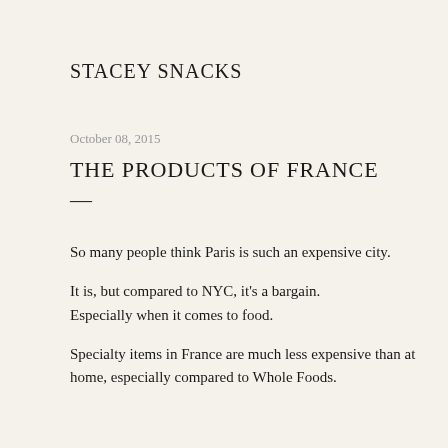STACEY SNACKS
October 08, 2015
THE PRODUCTS OF FRANCE
So many people think Paris is such an expensive city.
It is, but compared to NYC, it's a bargain. Especially when it comes to food.
Specialty items in France are much less expensive than at home, especially compared to Whole Foods.